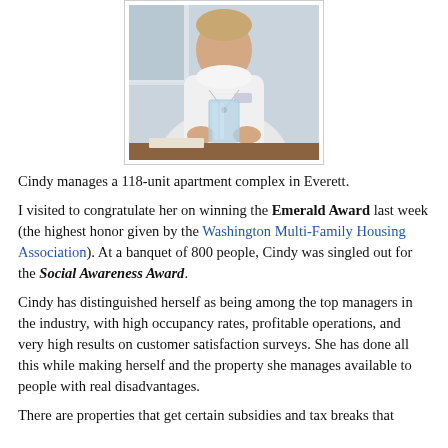[Figure (photo): A woman in white clothing holding a clear glass/crystal award trophy, seated at a desk or table. She appears to be a property manager posing with her award.]
Cindy manages a 118-unit apartment complex in Everett.
I visited to congratulate her on winning the Emerald Award last week (the highest honor given by the Washington Multi-Family Housing Association). At a banquet of 800 people, Cindy was singled out for the Social Awareness Award.
Cindy has distinguished herself as being among the top managers in the industry, with high occupancy rates, profitable operations, and very high results on customer satisfaction surveys. She has done all this while making herself and the property she manages available to people with real disadvantages.
There are properties that get certain subsidies and tax breaks that